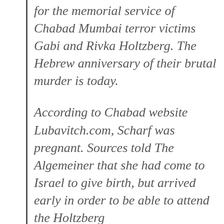for the memorial service of Chabad Mumbai terror victims Gabi and Rivka Holtzberg. The Hebrew anniversary of their brutal murder is today.
According to Chabad website Lubavitch.com, Scharf was pregnant. Sources told The Algemeiner that she had come to Israel to give birth, but arrived early in order to be able to attend the Holtzberg